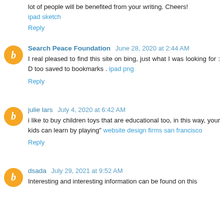lot of people will be benefited from your writing. Cheers! ipad sketch
Reply
Search Peace Foundation  June 28, 2020 at 2:44 AM
I real pleased to find this site on bing, just what I was looking for : D too saved to bookmarks . ipad png
Reply
julie lars  July 4, 2020 at 6:42 AM
i like to buy children toys that are educational too, in this way, your kids can learn by playing" website design firms san francisco
Reply
dsada  July 29, 2021 at 9:52 AM
Interesting and interesting information can be found on this